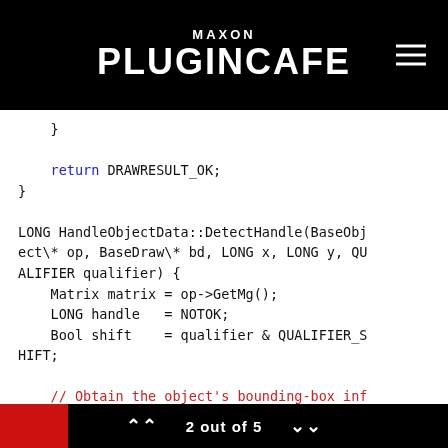MAXON PLUGINCAFE
}

    return DRAWRESULT_OK;
}

LONG HandleObjectData::DetectHandle(BaseObject\* op, BaseDraw\* bd, LONG x, LONG y, QUALIFIER qualifier) {
    Matrix matrix = op->GetMg();
    LONG handle   = NOTOK;
    Bool shift    = qualifier & QUALIFIER_SHIFT;

    // Obtain the object's bounding-box information.
    Vector mp, rad;
    GetDimension(op, &mp, &rad);
2 out of 5